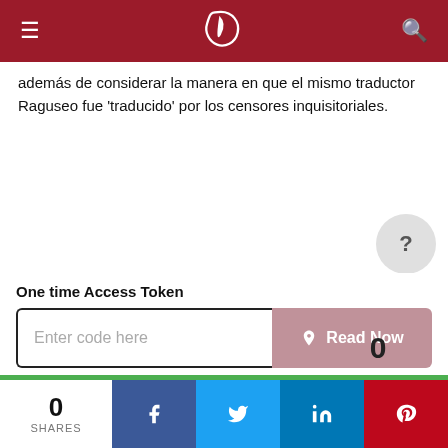Header navigation bar with hamburger menu, logo, and search icon
además de considerar la manera en que el mismo traductor Raguseo fue 'traducido' por los censores inquisitoriales.
[Figure (other): Gray circular help badge with question mark]
[Figure (other): Colored polygon score badge showing 0, with rainbow-colored pentagon/heptagon outline on gray circle background]
One time Access Token
Enter code here
Read Now
0 SHARES with Facebook, Twitter, LinkedIn, Pinterest share buttons